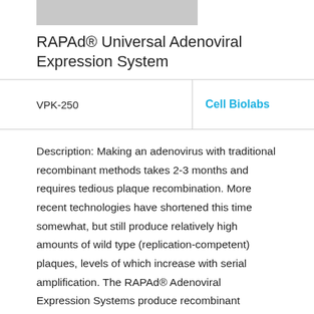[Figure (other): Gray image/logo placeholder bar at top left]
RAPAd® Universal Adenoviral Expression System
| VPK-250 | Cell Biolabs | 1 kit | EUR 1036 |
| --- | --- | --- | --- |
Description: Making an adenovirus with traditional recombinant methods takes 2-3 months and requires tedious plaque recombination. More recent technologies have shortened this time somewhat, but still produce relatively high amounts of wild type (replication-competent) plaques, levels of which increase with serial amplification. The RAPAd® Adenoviral Expression Systems produce recombinant adenovirus with substantially reduced wild-type virus, while considerably shortening the production time to 2-3 weeks. Serial amplification of